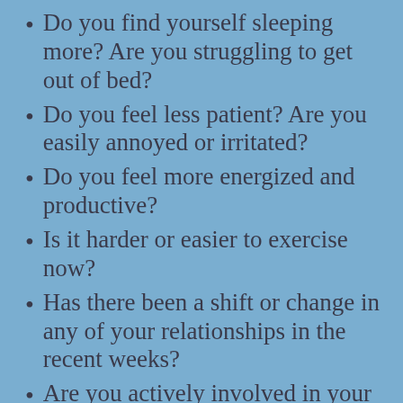Do you find yourself sleeping more? Are you struggling to get out of bed?
Do you feel less patient? Are you easily annoyed or irritated?
Do you feel more energized and productive?
Is it harder or easier to exercise now?
Has there been a shift or change in any of your relationships in the  recent weeks?
Are you actively involved in your relationships?